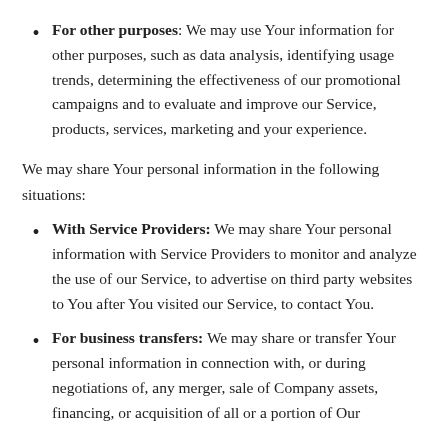For other purposes: We may use Your information for other purposes, such as data analysis, identifying usage trends, determining the effectiveness of our promotional campaigns and to evaluate and improve our Service, products, services, marketing and your experience.
We may share Your personal information in the following situations:
With Service Providers: We may share Your personal information with Service Providers to monitor and analyze the use of our Service, to advertise on third party websites to You after You visited our Service, to contact You.
For business transfers: We may share or transfer Your personal information in connection with, or during negotiations of, any merger, sale of Company assets, financing, or acquisition of all or a portion of Our